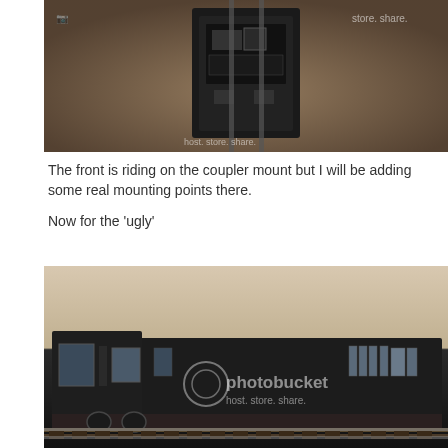[Figure (photo): Top-down view of a model train locomotive chassis showing internal mechanical components, sitting on track, photographed from above on a concrete/wooden floor surface. Photobucket watermark visible.]
The front is riding on the coupler mount but I will be adding some real mounting points there.

Now for the 'ugly'
[Figure (photo): Side view of a dark/black model train locomotive on track, showing the body, windows, and wheels. The train appears to be a detailed scale model. Photobucket watermark visible.]